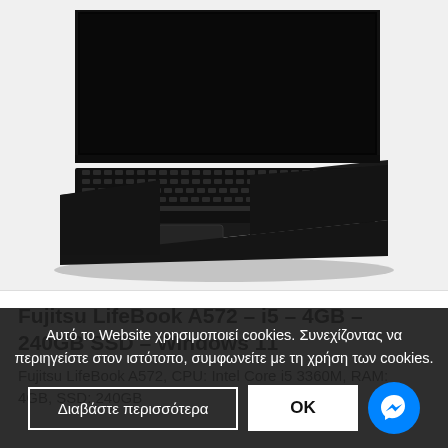[Figure (photo): Fujitsu LifeBook A572 laptop computer shown from an angled top-front view, open with keyboard visible, dark/black color scheme]
Fujitsu LifeBook A572 – i5 – 4GB – 240GB SSD – Windows 11
Fujitsu LifeBook A572, CPU: Intel Core i5 3360M, RAM: 4GB, SSD: 240GB
Αυτό το Website χρησιμοποιεί cookies. Συνεχίζοντας να περιηγείστε στον ιστότοπο, συμφωνείτε με τη χρήση των cookies.
Διαβάστε περισσότερα
OK